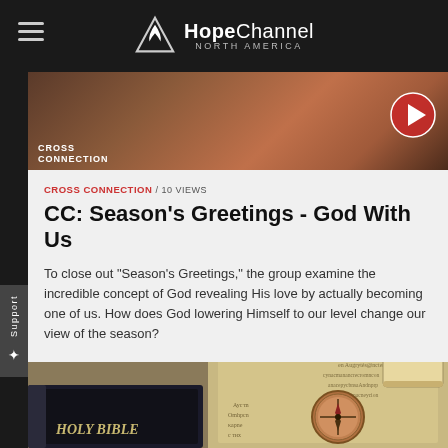Hope Channel NORTH AMERICA
[Figure (screenshot): Video thumbnail showing TV show host in studio with Cross Connection branding and play button overlay]
CROSS CONNECTION / 10 VIEWS
CC: Season's Greetings - God With Us
To close out "Season's Greetings," the group examine the incredible concept of God revealing His love by actually becoming one of us. How does God lowering Himself to our level change our view of the season?
[Figure (photo): Holy Bible with compass and ancient manuscript/map in background]